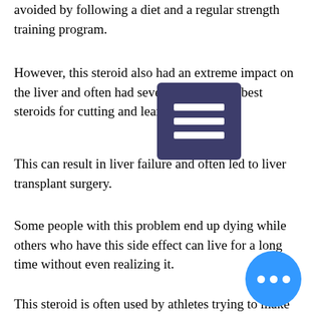avoided by following a diet and a regular strength training program.
However, this steroid also had an extreme impact on the liver and often had severe side effects, best steroids for cutting and lean muscle.
This can result in liver failure and often led to liver transplant surgery.
Some people with this problem end up dying while others who have this side effect can live for a long time without even realizing it.
This steroid is often used by athletes trying to make weight as long as possible in case something happens to their muscles or they feel ill or faint, best sarm stack for losing fat.
If you end up using this product without a proper diet and exercise routine that comes